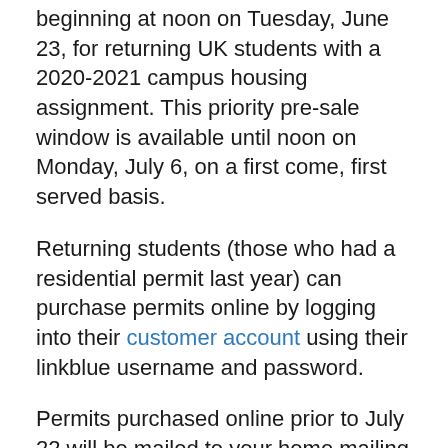beginning at noon on Tuesday, June 23, for returning UK students with a 2020-2021 campus housing assignment. This priority pre-sale window is available until noon on Monday, July 6, on a first come, first served basis.
Returning students (those who had a residential permit last year) can purchase permits online by logging into their customer account using their linkblue username and password.
Permits purchased online prior to July 22 will be mailed to your home mailing address. After that date, they must be picked up at the Transportation Services Customer Service Center, located at 721 Press Avenue.